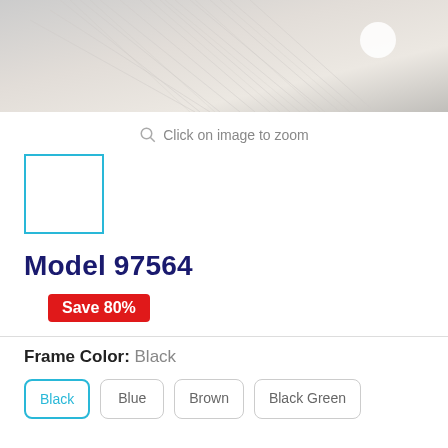[Figure (photo): Product image thumbnail showing feathery/fabric texture in light gray and beige tones with a white circular zoom icon in the upper right]
Click on image to zoom
[Figure (photo): Small thumbnail image with cyan/teal border showing a white background product swatch]
Model 97564
Save 80%
Frame Color: Black
Black
Blue
Brown
Black Green